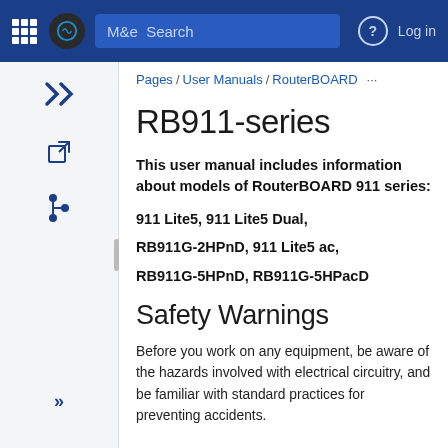More Search | Log in
Pages / User Manuals / RouterBOARD ...
RB911-series
This user manual includes information about models of RouterBOARD 911 series:
911 Lite5, 911 Lite5 Dual,
RB911G-2HPnD, 911 Lite5 ac,
RB911G-5HPnD, RB911G-5HPacD
Safety Warnings
Before you work on any equipment, be aware of the hazards involved with electrical circuitry, and be familiar with standard practices for preventing accidents.